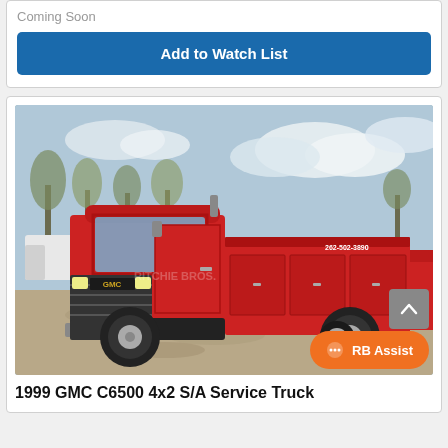Coming Soon
Add to Watch List
[Figure (photo): Red 1999 GMC C6500 4x2 S/A Service Truck parked in a lot, with trees and cloudy sky in the background. The service body is red with a phone number 262-502-3890 visible.]
1999 GMC C6500 4x2 S/A Service Truck